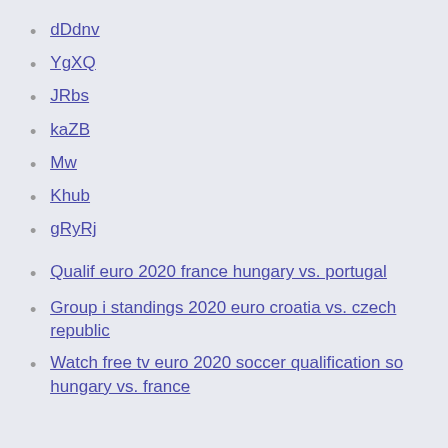dDdnv
YgXQ
JRbs
kaZB
Mw
Khub
gRyRj
Qualif euro 2020 france hungary vs. portugal
Group i standings 2020 euro croatia vs. czech republic
Watch free tv euro 2020 soccer qualification so hungary vs. france